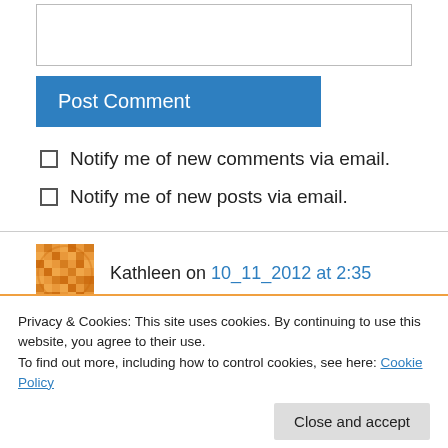[Figure (other): Text input/comment box (empty)]
Post Comment
Notify me of new comments via email.
Notify me of new posts via email.
Kathleen on 10_11_2012 at 2:35
This blog was truly insightful as far as acquiring
Privacy & Cookies: This site uses cookies. By continuing to use this website, you agree to their use.
To find out more, including how to control cookies, see here: Cookie Policy
Close and accept
the value of exchange supersedes the value of